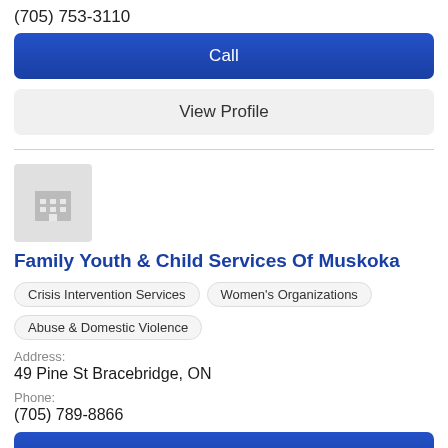(705) 753-3110
Call
View Profile
[Figure (illustration): Gray placeholder building icon]
Family Youth & Child Services Of Muskoka
Crisis Intervention Services
Women's Organizations
Abuse & Domestic Violence
Address:
49 Pine St Bracebridge, ON
Phone:
(705) 789-8866
Call